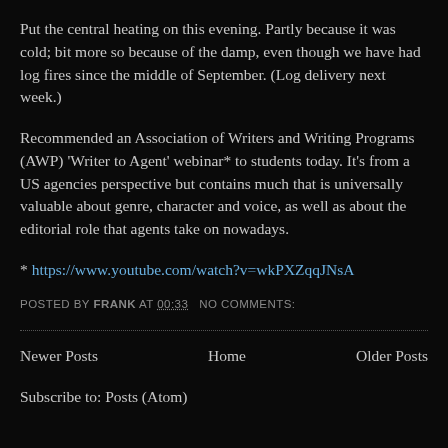Put the central heating on this evening. Partly because it was cold; bit more so because of the damp, even though we have had log fires since the middle of September. (Log delivery next week.)
Recommended an Association of Writers and Writing Programs (AWP) 'Writer to Agent' webinar* to students today. It's from a US agencies perspective but contains much that is universally valuable about genre, character and voice, as well as about the editorial role that agents take on nowadays.
* https://www.youtube.com/watch?v=wkPXZqqJNsA
POSTED BY FRANK AT 00:33   NO COMMENTS:
Newer Posts | Home | Older Posts
Subscribe to: Posts (Atom)